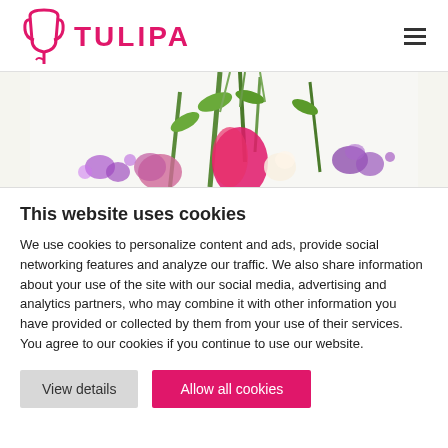TULIPA
[Figure (photo): Arrangement of colorful flowers including pink, purple, and green stems against a white background]
This website uses cookies
We use cookies to personalize content and ads, provide social networking features and analyze our traffic. We also share information about your use of the site with our social media, advertising and analytics partners, who may combine it with other information you have provided or collected by them from your use of their services. You agree to our cookies if you continue to use our website.
View details | Allow all cookies